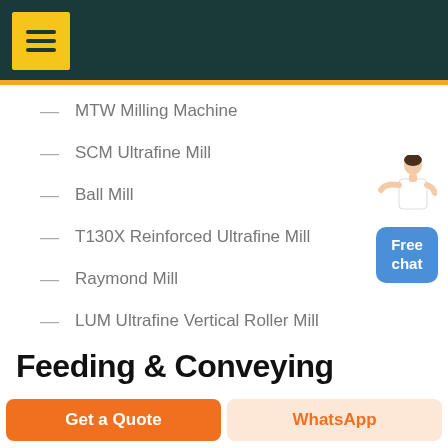[Figure (other): Website header with dark teal background, yellow menu button with hamburger icon, and yellow stripe below]
— MTW Milling Machine
— SCM Ultrafine Mill
— Ball Mill
— T130X Reinforced Ultrafine Mill
— Raymond Mill
— LUM Ultrafine Vertical Roller Mill
Feeding & Conveying
[Figure (illustration): Customer service representative figure with Free chat button]
Get a Quote   WhatsApp